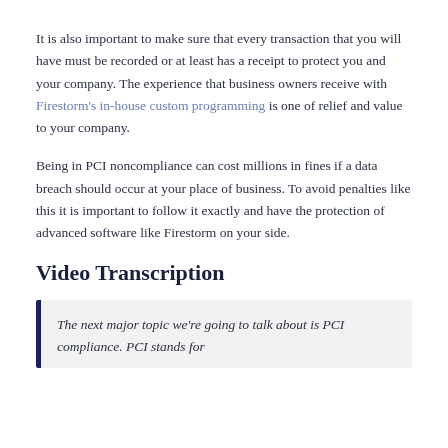It is also important to make sure that every transaction that you will have must be recorded or at least has a receipt to protect you and your company. The experience that business owners receive with Firestorm's in-house custom programming is one of relief and value to your company.
Being in PCI noncompliance can cost millions in fines if a data breach should occur at your place of business. To avoid penalties like this it is important to follow it exactly and have the protection of advanced software like Firestorm on your side.
Video Transcription
The next major topic we're going to talk about is PCI compliance. PCI stands for